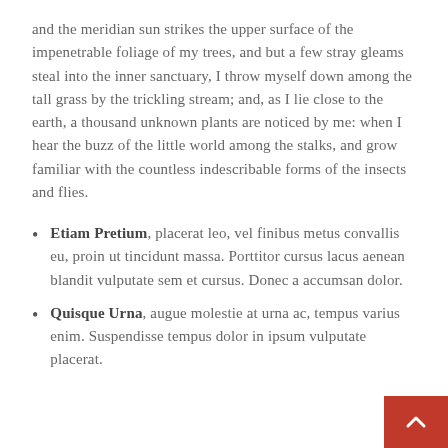and the meridian sun strikes the upper surface of the impenetrable foliage of my trees, and but a few stray gleams steal into the inner sanctuary, I throw myself down among the tall grass by the trickling stream; and, as I lie close to the earth, a thousand unknown plants are noticed by me: when I hear the buzz of the little world among the stalks, and grow familiar with the countless indescribable forms of the insects and flies.
Etiam Pretium, placerat leo, vel finibus metus convallis eu, proin ut tincidunt massa. Porttitor cursus lacus aenean blandit vulputate sem et cursus. Donec a accumsan dolor.
Quisque Urna, augue molestie at urna ac, tempus varius enim. Suspendisse tempus dolor in ipsum vulputate placerat.